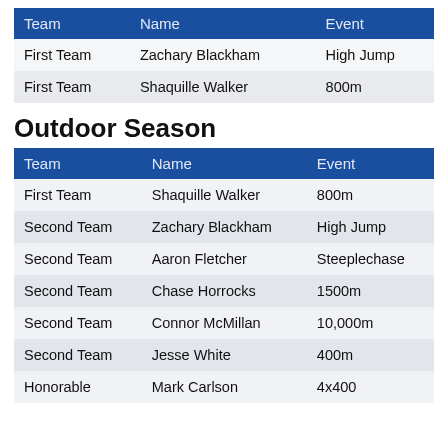| Team | Name | Event |
| --- | --- | --- |
| First Team | Zachary Blackham | High Jump |
| First Team | Shaquille Walker | 800m |
Outdoor Season
| Team | Name | Event |
| --- | --- | --- |
| First Team | Shaquille Walker | 800m |
| Second Team | Zachary Blackham | High Jump |
| Second Team | Aaron Fletcher | Steeplechase |
| Second Team | Chase Horrocks | 1500m |
| Second Team | Connor McMillan | 10,000m |
| Second Team | Jesse White | 400m |
| Honorable | Mark Carlson | 4x400 |